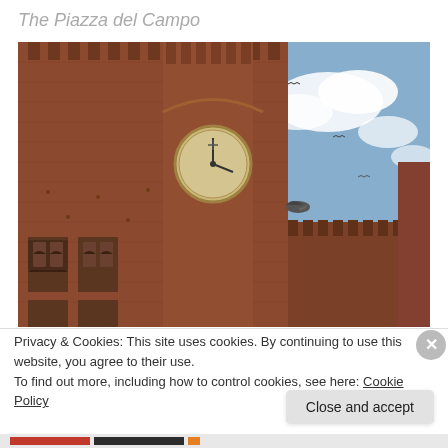The Piazza del Campo
[Figure (photo): Photograph of the Palazzo Pubblico in Siena's Piazza del Campo, showing the Gothic brick facade with arched windows, a large circular clock face, crenellated parapets, and a blue sky with clouds and birds in flight.]
Privacy & Cookies: This site uses cookies. By continuing to use this website, you agree to their use.
To find out more, including how to control cookies, see here: Cookie Policy
Close and accept